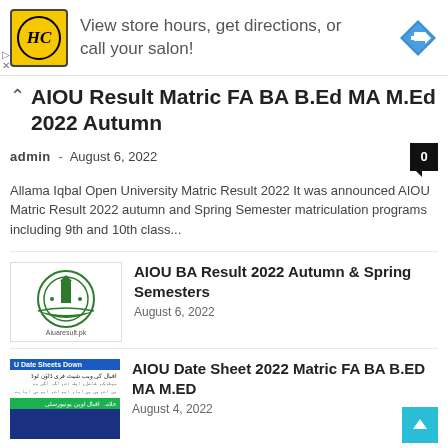[Figure (infographic): Advertisement banner with HC salon logo and navigation arrow icon. Text: 'View store hours, get directions, or call your salon!']
AIOU Result Matric FA BA B.Ed MA M.Ed 2022 Autumn
admin – August 6, 2022   0
Allama Iqbal Open University Matric Result 2022 It was announced AIOU Matric Result 2022 autumn and Spring Semester matriculation programs including 9th and 10th class...
[Figure (logo): AIOU (Allama Iqbal Open University) logo - green emblem with minaret]
AIOU BA Result 2022 Autumn & Spring Semesters
August 6, 2022
[Figure (screenshot): AIOU Date Sheet download page screenshot with Urdu text and green banner]
AIOU Date Sheet 2022 Matric FA BA B.ED MA M.ED
August 4, 2022